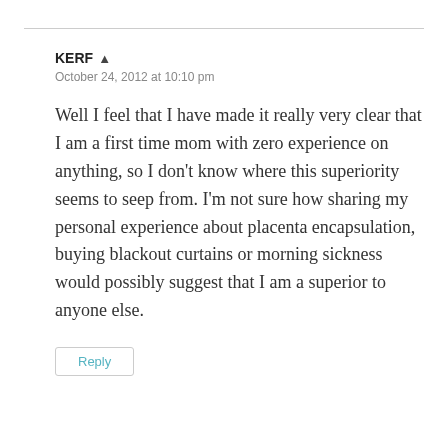KERF
October 24, 2012 at 10:10 pm
Well I feel that I have made it really very clear that I am a first time mom with zero experience on anything, so I don't know where this superiority seems to seep from. I'm not sure how sharing my personal experience about placenta encapsulation, buying blackout curtains or morning sickness would possibly suggest that I am a superior to anyone else.
Reply